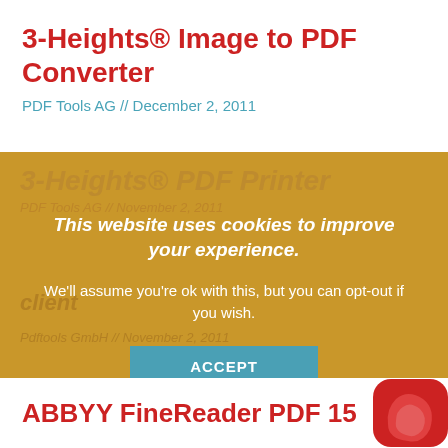3-Heights® Image to PDF Converter
PDF Tools AG // December 2, 2011
[Figure (screenshot): Cookie consent banner overlay on a golden/tan background showing partially visible content behind it. The banner reads: 'This website uses cookies to improve your experience.' with body text 'We'll assume you're ok with this, but you can opt-out if you wish.' with an ACCEPT button and Cookie settings / Read More links.]
ABBYY FineReader PDF 15